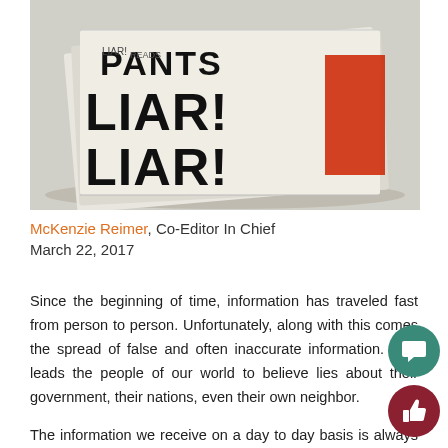[Figure (photo): Stack of newspapers with large bold headline reading 'LIAR! LIAR!' and partial text 'PANTS' and 'LIAR!' visible]
McKenzie Reimer, Co-Editor In Chief
March 22, 2017
Since the beginning of time, information has traveled fast from person to person. Unfortunately, along with this comes the spread of false and often inaccurate information. This leads the people of our world to believe lies about their government, their nations, even their own neighbor.
The information we receive on a day to day basis is always the correct information. This has become even